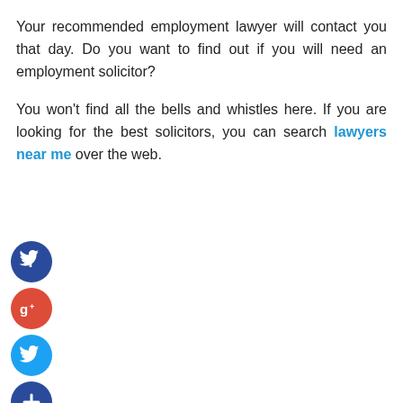Your recommended employment lawyer will contact you that day. Do you want to find out if you will need an employment solicitor?
You won't find all the bells and whistles here. If you are looking for the best solicitors, you can search lawyers near me over the web.
[Figure (infographic): Four social media share buttons stacked vertically: Facebook (dark blue circle with f), Google+ (red circle with g+), Twitter (light blue circle with bird icon), and a generic plus/add button (dark blue circle with +)]